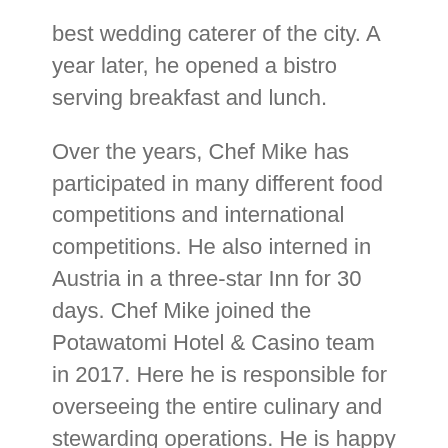best wedding caterer of the city. A year later, he opened a bistro serving breakfast and lunch.
Over the years, Chef Mike has participated in many different food competitions and international competitions. He also interned in Austria in a three-star Inn for 30 days. Chef Mike joined the Potawatomi Hotel & Casino team in 2017. Here he is responsible for overseeing the entire culinary and stewarding operations. He is happy to be back home after more than 20 years.
When he’s not in the kitchen, Chef Mike enjoys spending time with his two children, five grandchildren, and his wife who is his best friend. He also likes staying active by riding his bike, up to 15-20 miles a day, two to three times a week.